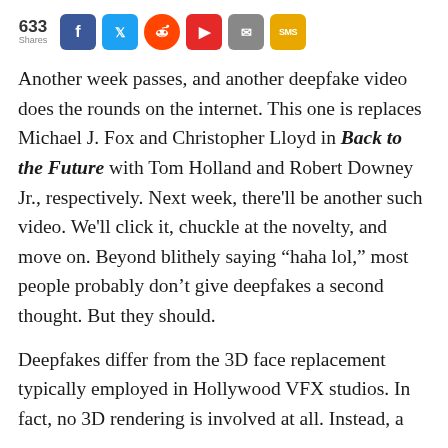[Figure (infographic): Social share bar showing 633 Shares with buttons for Facebook, Twitter, Reddit, Flipboard, Email, and SMS]
Another week passes, and another deepfake video does the rounds on the internet. This one is replaces Michael J. Fox and Christopher Lloyd in Back to the Future with Tom Holland and Robert Downey Jr., respectively. Next week, there'll be another such video. We'll click it, chuckle at the novelty, and move on. Beyond blithely saying “haha lol,” most people probably don’t give deepfakes a second thought. But they should.
Deepfakes differ from the 3D face replacement typically employed in Hollywood VFX studios. In fact, no 3D rendering is involved at all. Instead, a